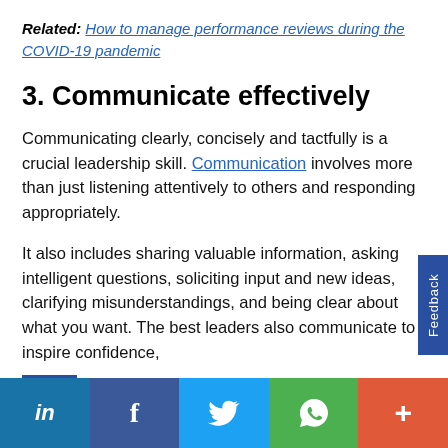Related: How to manage performance reviews during the COVID-19 pandemic
3. Communicate effectively
Communicating clearly, concisely and tactfully is a crucial leadership skill. Communication involves more than just listening attentively to others and responding appropriately.
It also includes sharing valuable information, asking intelligent questions, soliciting input and new ideas, clarifying misunderstandings, and being clear about what you want. The best leaders also communicate to inspire confidence,
in | f | Twitter | WhatsApp | +